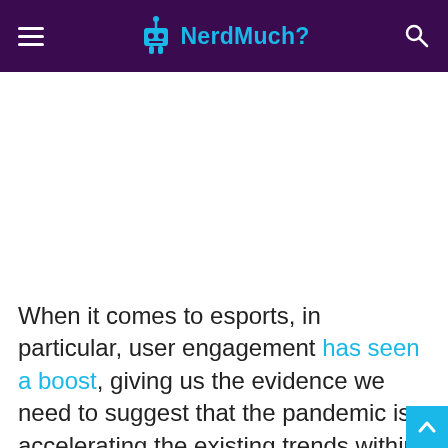NerdMuch?
[Figure (other): Blank white advertisement/image area]
When it comes to esports, in particular, user engagement has seen a boost, giving us the evidence we need to suggest that the pandemic is accelerating the existing trends within the gaming industry. This poses another question, where does that take us as we enter into a new gaming